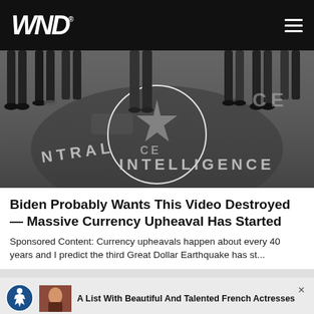WND
[Figure (photo): Photo of people standing on the CIA headquarters lobby floor with the CIA seal/eagle emblem and words CENTRAL INTELLIGENCE visible in the floor.]
Biden Probably Wants This Video Destroyed — Massive Currency Upheaval Has Started
Sponsored Content: Currency upheavals happen about every 40 years and I predict the third Great Dollar Earthquake has st...
Watch The Video
218,072
Sponsored Ad
Advertisement
A List With Beautiful And Talented French Actresses